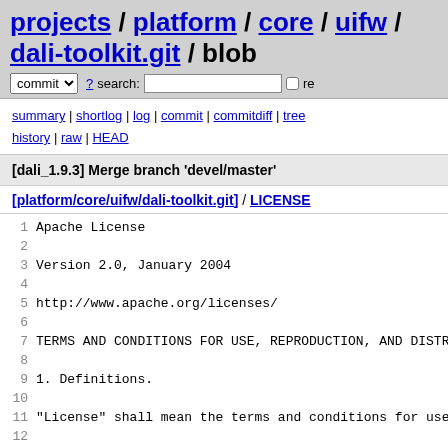projects / platform / core / uifw / dali-toolkit.git / blob
summary | shortlog | log | commit | commitdiff | tree history | raw | HEAD
[dali_1.9.3] Merge branch 'devel/master'
[platform/core/uifw/dali-toolkit.git] / LICENSE
1  Apache License
2
3  Version 2.0, January 2004
4
5  http://www.apache.org/licenses/
6
7  TERMS AND CONDITIONS FOR USE, REPRODUCTION, AND DISTRIB...
8
9  1. Definitions.
10
11  "License" shall mean the terms and conditions for use,
12
13  "Licensor" shall mean the copyright owner or entity aut...
14
15  "Legal Entity" shall mean the union of the acting entit...
16
17  "You" (or "Your") shall mean an individual or Legal Ent...
18
19  "Source" form shall mean the preferred form for making...